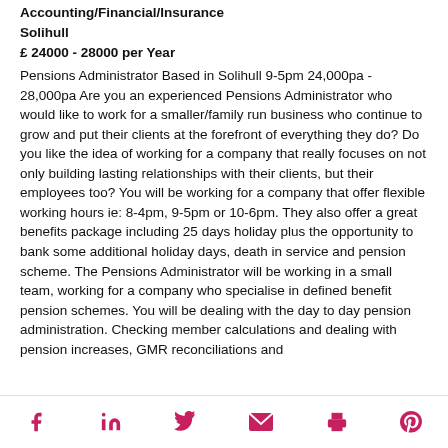Accounting/Financial/Insurance
Solihull
£ 24000 - 28000 per Year
Pensions Administrator Based in Solihull 9-5pm 24,000pa - 28,000pa Are you an experienced Pensions Administrator who would like to work for a smaller/family run business who continue to grow and put their clients at the forefront of everything they do? Do you like the idea of working for a company that really focuses on not only building lasting relationships with their clients, but their employees too? You will be working for a company that offer flexible working hours ie: 8-4pm, 9-5pm or 10-6pm. They also offer a great benefits package including 25 days holiday plus the opportunity to bank some additional holiday days, death in service and pension scheme. The Pensions Administrator will be working in a small team, working for a company who specialise in defined benefit pension schemes. You will be dealing with the day to day pension administration. Checking member calculations and dealing with pension increases, GMR reconciliations and
Social share icons: Facebook, LinkedIn, Twitter, Email, Print, Pinterest